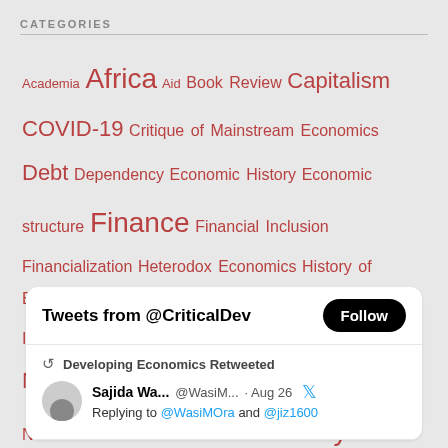CATEGORIES
Academia Africa Aid Book Review Capitalism COVID-19 Critique of Mainstream Economics Debt Dependency Economic History Economic structure Finance Financial Inclusion Financialization Heterodox Economics History of Economic Thought IFIs India Inequality Institutions International Organizations Labor Latin America Macroeconomics Marxian Economics Neoliberalism Political Economy Public Policy State capitalism Trade
[Figure (screenshot): Twitter widget showing 'Tweets from @CriticalDev' with a Follow button, a retweet by Developing Economics of Sajida Wa... @WasiM... Aug 26 with a reply to @WasiMOra and @jiz1600]